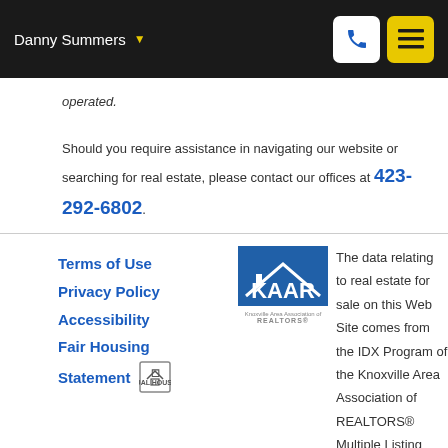Danny Summers
operated.
Should you require assistance in navigating our website or searching for real estate, please contact our offices at 423-292-6802.
Terms of Use
Privacy Policy
Accessibility
Fair Housing Statement
[Figure (logo): KAAR - Knoxville Area Association of REALTORS logo, blue square with white house outline and KAAR text]
The data relating to real estate for sale on this Web Site comes from the IDX Program of the Knoxville Area Association of REALTORS® Multiple Listing Service. ©